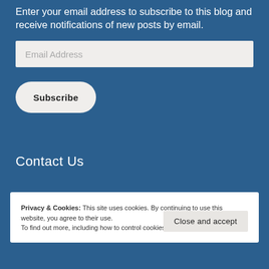Enter your email address to subscribe to this blog and receive notifications of new posts by email.
[Figure (other): Email address input field with placeholder text 'Email Address']
[Figure (other): Subscribe button with rounded corners]
Contact Us
Privacy & Cookies: This site uses cookies. By continuing to use this website, you agree to their use. To find out more, including how to control cookies, see here: Cookie Policy
Close and accept